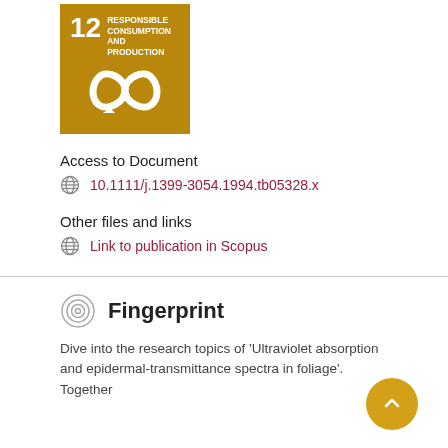[Figure (logo): UN SDG 12 badge - Responsible Consumption and Production, golden/brown background with infinity loop icon]
Access to Document
10.1111/j.1399-3054.1994.tb05328.x
Other files and links
Link to publication in Scopus
Fingerprint
Dive into the research topics of 'Ultraviolet absorption and epidermal-transmittance spectra in foliage'. Together